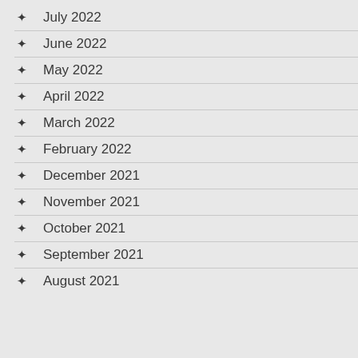July 2022
June 2022
May 2022
April 2022
March 2022
February 2022
December 2021
November 2021
October 2021
September 2021
August 2021